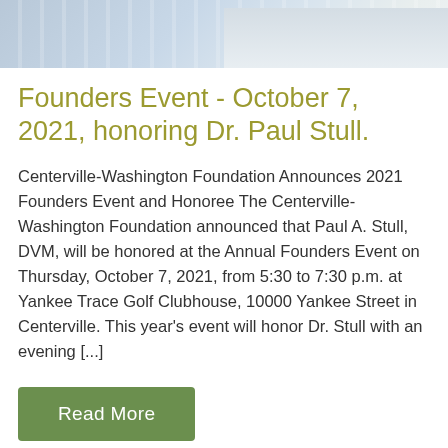[Figure (photo): Partial photo of a person wearing a blue/white striped shirt, cropped to show only the torso/shirt area]
Founders Event - October 7, 2021, honoring Dr. Paul Stull.
Centerville-Washington Foundation Announces 2021 Founders Event and Honoree The Centerville-Washington Foundation announced that Paul A. Stull, DVM, will be honored at the Annual Founders Event on Thursday, October 7, 2021, from 5:30 to 7:30 p.m. at Yankee Trace Golf Clubhouse, 10000 Yankee Street in Centerville. This year's event will honor Dr. Stull with an evening [...]
Read More